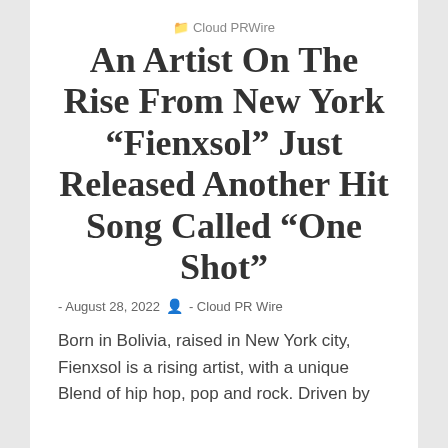Cloud PRWire
An Artist On The Rise From New York “Fienxsol” Just Released Another Hit Song Called “One Shot”
- August 28, 2022  👤 - Cloud PR Wire
Born in Bolivia, raised in New York city, Fienxsol is a rising artist, with a unique Blend of hip hop, pop and rock. Driven by